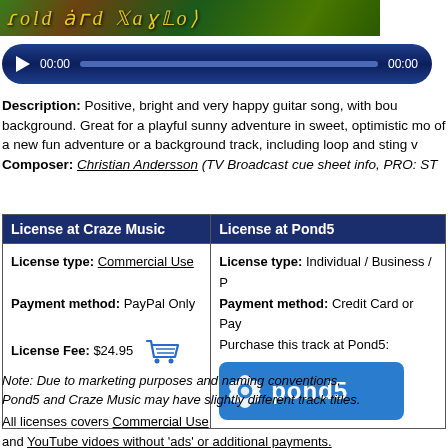[Figure (illustration): Green and brown themed banner image with stylized italic yellow-gold text reading 'Fold and Playfold' or similar decorative title]
[Figure (screenshot): Audio player bar with dark blue background, play button, time display 00:00, progress bar, and end time 00:00]
Description: Positive, bright and very happy guitar song, with bou background. Great for a playful sunny adventure in sweet, optimistic mo of a new fun adventure or a background track, including loop and sting v Composer: Christian Andersson (TV Broadcast cue sheet info, PRO: ST
| License at Craze Music | License at Pond5 |
| --- | --- |
| License type: Commercial Use
Payment method: PayPal Only
License Fee: $24.95 [cart] | License type: Individual / Business / P
Payment method: Credit Card or Pay
Purchase this track at Pond5:
[pond5 logo button] |
Note: Due to marketing purposes and naming conventions, Pond5 and Craze Music may have slightly different track titles.
All licenses covers Commercial Use and YouTube vidoes without 'ads' or additional payments.